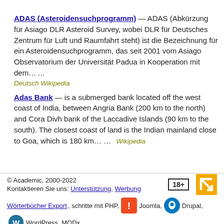ADAS (Asteroidensuchprogramm) — ADAS (Abkürzung für Asiago DLR Asteroid Survey, wobei DLR für Deutsches Zentrum für Luft und Raumfahrt steht) ist die Bezeichnung für ein Asteroidensuchprogramm, das seit 2001 vom Asiago Observatorium der Universität Padua in Kooperation mit dem… ...
Deutsch Wikipedia
Adas Bank — is a submerged bank located off the west coast of India, between Angria Bank (200 km to the north) and Cora Divh bank of the Laccadive Islands (90 km to the south). The closest coast of land is the Indian mainland close to Goa, which is 180 km… …     Wikipedia
© Academic, 2000-2022
Kontaktieren Sie uns: Unterstützung, Werbung
Wörterbücher Export, schritte mit PHP, Joomla, Drupal, WordPress, MODx.